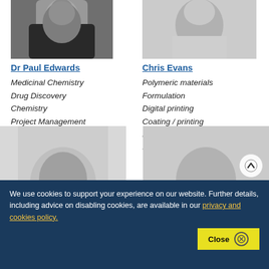[Figure (photo): Black and white headshot photo of Dr Paul Edwards, upper portion of face cropped]
[Figure (photo): Grayscale headshot photo of Chris Evans, upper portion of face cropped]
Dr Paul Edwards
Medicinal Chemistry
Drug Discovery
Chemistry
Project Management
Expert Witness
Chris Evans
Polymeric materials
Formulation
Digital printing
Coating / printing
Project management
Strategy
[Figure (photo): Partial headshot of a person, bottom of page left column]
[Figure (photo): Partial headshot of a person, bottom of page right column]
We use cookies to support your experience on our website. Further details, including advice on disabling cookies, are available in our privacy and cookies policy.